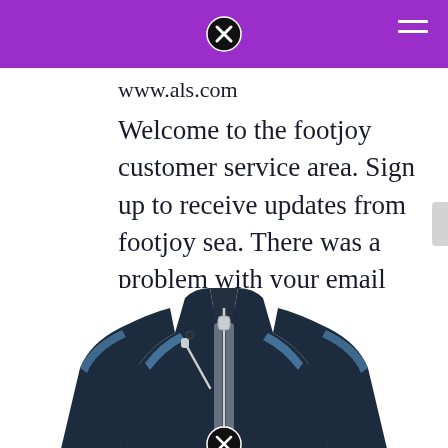www.als.com
Welcome to the footjoy customer service area. Sign up to receive updates from footjoy sea. There was a problem with your email sign up.
[Figure (photo): Dark navy blue golf jacket with light blue accent stripes along the shoulders and zipper area, white zipper pull, photographed on a white background]